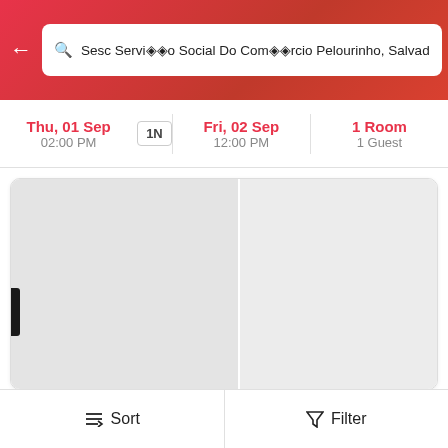Sesc Serviço Social Do Comércio Pelourinho, Salvad
Thu, 01 Sep 02:00 PM  1N  Fri, 02 Sep 12:00 PM  1 Room 1 Guest
[Figure (screenshot): Hotel listing card with gray image placeholder showing OYO Hotel Diamante Negro - Salvador]
5 ★ | (10)
OYO Hotel Diamante Negro - Salvador
13.4 km
Near Praia de Piatã - Rua Guaraçaima, 16 b, Piatã - Salvador-BA
TWIN ROOM
R$124
Sort   Filter